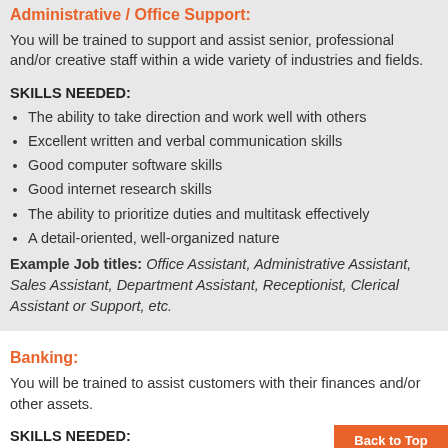Administrative / Office Support:
You will be trained to support and assist senior, professional and/or creative staff within a wide variety of industries and fields.
SKILLS NEEDED:
The ability to take direction and work well with others
Excellent written and verbal communication skills
Good computer software skills
Good internet research skills
The ability to prioritize duties and multitask effectively
A detail-oriented, well-organized nature
Example Job titles: Office Assistant, Administrative Assistant, Sales Assistant, Department Assistant, Receptionist, Clerical Assistant or Support, etc.
Banking:
You will be trained to assist customers with their finances and/or other assets.
SKILLS NEEDED: